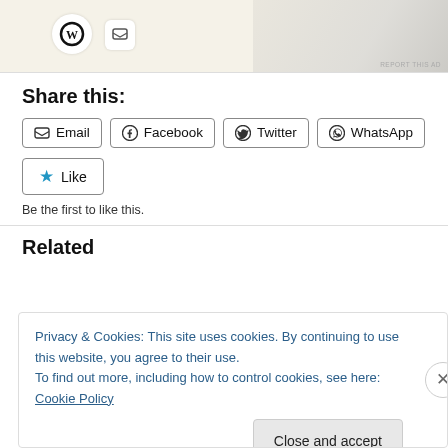[Figure (screenshot): Advertisement banner with WordPress logo and menu/food images on beige background. 'REPORT THIS AD' text in bottom right.]
Share this:
Email
Facebook
Twitter
WhatsApp
Like
Be the first to like this.
Related
Privacy & Cookies: This site uses cookies. By continuing to use this website, you agree to their use.
To find out more, including how to control cookies, see here: Cookie Policy
Close and accept